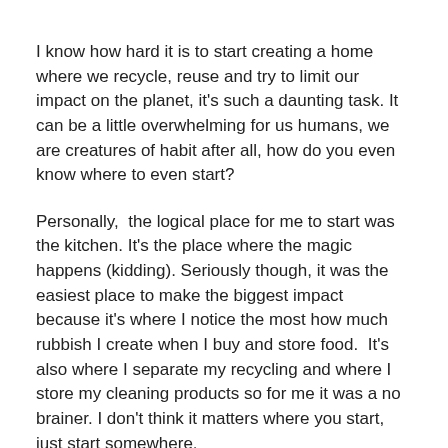I know how hard it is to start creating a home where we recycle, reuse and try to limit our impact on the planet, it's such a daunting task. It can be a little overwhelming for us humans, we are creatures of habit after all, how do you even know where to even start?
Personally,  the logical place for me to start was the kitchen. It's the place where the magic happens (kidding). Seriously though, it was the easiest place to make the biggest impact because it's where I notice the most how much rubbish I create when I buy and store food.  It's also where I separate my recycling and where I store my cleaning products so for me it was a no brainer. I don't think it matters where you start, just start somewhere.
It's crazy how much ‘stuff’ I used to put in the normal bin, embarrassing really.  I've come a long way from the weeks of putting out a full bin each week. It's so satisfying now, secretly knowing it only has one bag in it. All the rest goes into the recycling